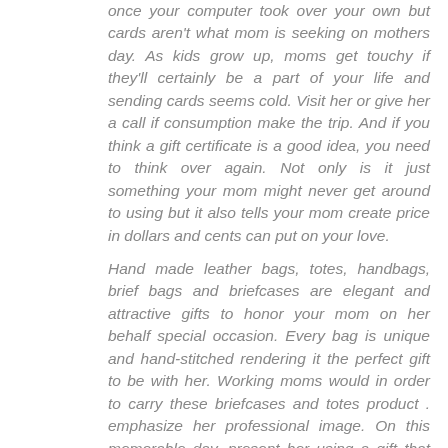once your computer took over your own but cards aren't what mom is seeking on mothers day. As kids grow up, moms get touchy if they'll certainly be a part of your life and sending cards seems cold. Visit her or give her a call if consumption make the trip. And if you think a gift certificate is a good idea, you need to think over again. Not only is it just something your mom might never get around to using but it also tells your mom create price in dollars and cents can put on your love.
Hand made leather bags, totes, handbags, brief bags and briefcases are elegant and attractive gifts to honor your mom on her behalf special occasion. Every bag is unique and hand-stitched rendering it the perfect gift to be with her. Working moms would in order to carry these briefcases and totes product . emphasize her professional image. On this memorable day, present her using a gift that she would cherish for your lifetime. Surprise your mother with gifts that stays longer, durable, strong and exquisite. Authentic Italian leather handbags are classy